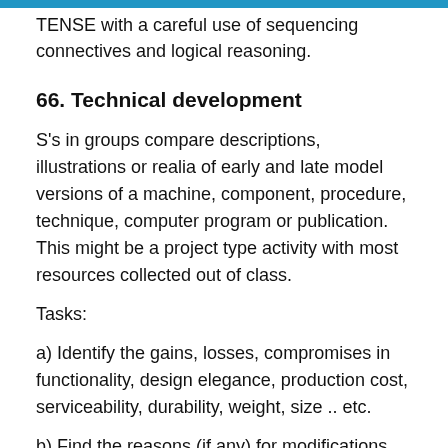TENSE with a careful use of sequencing connectives and logical reasoning.
66. Technical development
S's in groups compare descriptions, illustrations or realia of early and late model versions of a machine, component, procedure, technique, computer program or publication. This might be a project type activity with most resources collected out of class.
Tasks:
a) Identify the gains, losses, compromises in functionality, design elegance, production cost, serviceability, durability, weight, size .. etc.
b) Find the reasons (if any) for modifications.